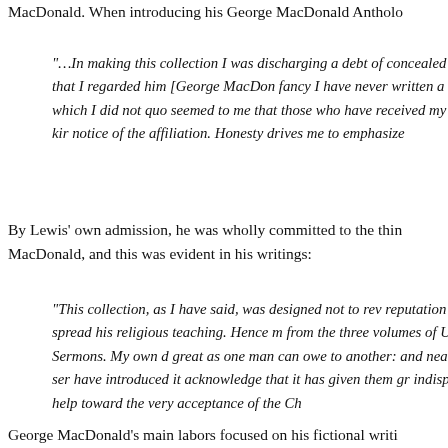MacDonald. When introducing his George MacDonald Antholo
“…In making this collection I was discharging a debt of concealed the fact that I regarded him [George MacDon fancy I have never written a book in which I did not quo seemed to me that those who have received my books kir notice of the affiliation. Honesty drives me to emphasize
By Lewis’ own admission, he was wholly committed to the thin MacDonald, and this was evident in his writings:
“This collection, as I have said, was designed not to rev reputation but to spread his religious teaching. Hence m from the three volumes of Unspoken Sermons. My own d great as one man can owe to another: and nearly all ser have introduced it acknowledge that it has given them gr indispensable help toward the very acceptance of the Ch
George MacDonald’s main labors focused on his fictional writi